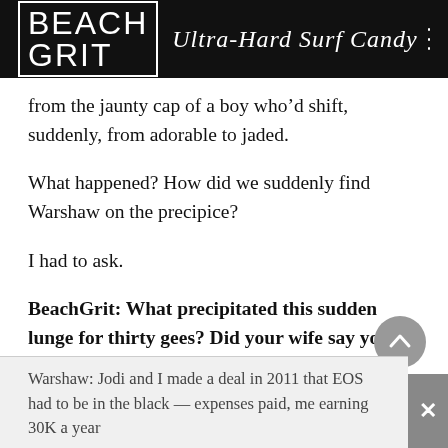BEACH GRIT Ultra-Hard Surf Candy
from the jaunty cap of a boy who’d shift, suddenly, from adorable to jaded.
What happened? How did we suddenly find Warshaw on the precipice?
I had to ask.
BeachGrit: What precipitated this sudden lunge for thirty gees? Did your wife say you’d have to go out and get a real job if you didn’t make some cash?
Warshaw: Jodi and I made a deal in 2011 that EOS had to be in the black — expenses paid, me earning 30K a year